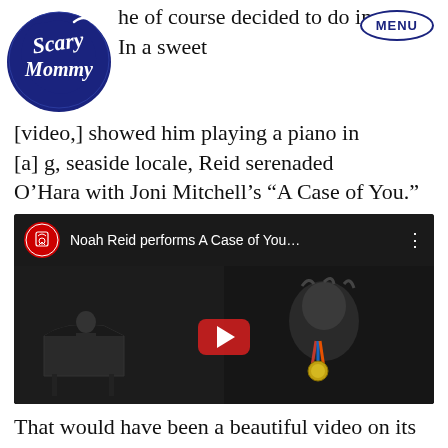[Figure (logo): Scary Mommy logo — white cursive text on dark blue swirled badge shape]
he of course decided to do in song. In a sweet [video,] showed him playing a piano in [a] g, seaside locale, Reid serenaded O'Hara with Joni Mitchell's “A Case of You.”
[Figure (screenshot): YouTube video embed showing Noah Reid performing A Case of You. Thumbnail shows a dark scene with a person at a grand piano on the left and a person smiling with a medal on the right. Red play button in center. Title reads 'Noah Reid performs A Case of You...']
That would have been a beautiful video on its own. But Reid decided to take his tribute to